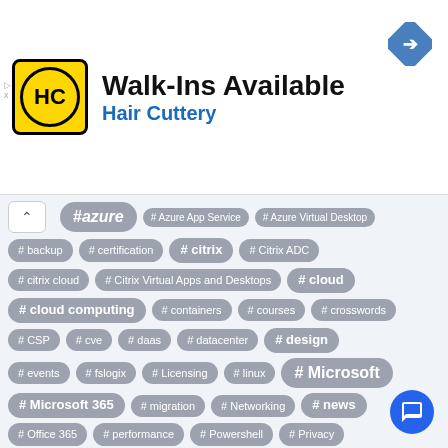[Figure (logo): Hair Cuttery advertisement banner with HC logo, Walk-Ins Available text, and navigation icon]
# azure
# Azure App Service
# Azure Virtual Desktop
# backup
# certification
# citrix
# Citrix ADC
# citrix cloud
# Citrix Virtual Apps and Desktops
# cloud
# cloud computing
# containers
# courses
# crosswords
# CSP
# cve
# daas
# datacenter
# design
# events
# fslogix
# Licensing
# linux
# Microsoft
# Microsoft 365
# migration
# Networking
# news
# Office 365
# performance
# Powershell
# Privacy
# profiles
# reference architectures
# security
# SQL
# SQL Server
# support
# training
# troubleshooting
# VDI
# windows
# Windows Server
# xenapp
# xendesktop